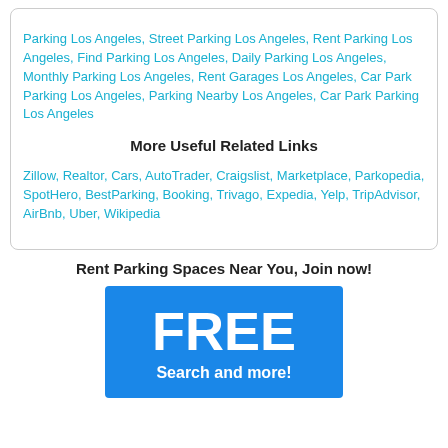Parking Los Angeles, Street Parking Los Angeles, Rent Parking Los Angeles, Find Parking Los Angeles, Daily Parking Los Angeles, Monthly Parking Los Angeles, Rent Garages Los Angeles, Car Park Parking Los Angeles, Parking Nearby Los Angeles, Car Park Parking Los Angeles
More Useful Related Links
Zillow, Realtor, Cars, AutoTrader, Craigslist, Marketplace, Parkopedia, SpotHero, BestParking, Booking, Trivago, Expedia, Yelp, TripAdvisor, AirBnb, Uber, Wikipedia
Rent Parking Spaces Near You, Join now!
[Figure (infographic): Blue banner with large white bold text 'FREE' and below it 'Search and more!']